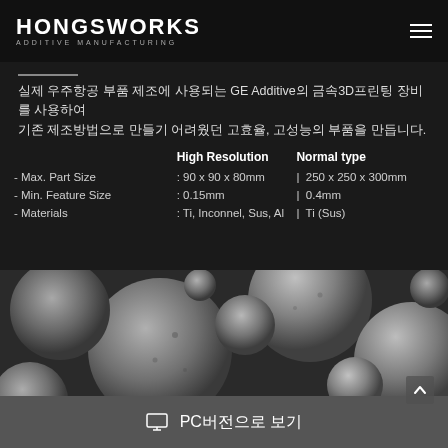HONGSWORKS ADDITIVE MANUFACTURING
실제 우주항공 부품 제조에 사용되는 GE Additive의 금속3D프린팅 장비를 사용하여
기존 제조방법으로 만들기 어려웠던 고효율, 고성능의 부품을 만듭니다.
|  | High Resolution | Normal type |
| --- | --- | --- |
| - Max. Part Size | : 90 x 90 x 80mm | | 250 x 250 x 300mm |
| - Min. Feature Size | : 0.15mm | | 0.4mm |
| - Materials | : Ti, Inconnel, Sus, Al | | Ti (Sus) |
[Figure (photo): SEM microscopy image of metal powder spheres (Ti or similar alloy) used in additive manufacturing, grayscale close-up showing multiple spherical powder particles]
PC버전으로 보기